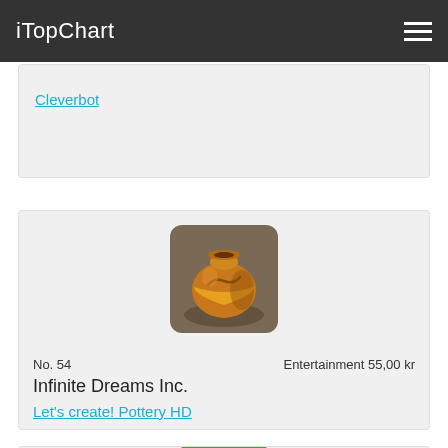iTopChart
Cleverbot
[Figure (illustration): App icon for Let's create! Pottery HD showing a decorated clay pot/vase on a stone background]
No. 54   Entertainment 55,00 kr
Infinite Dreams Inc.
Let's create! Pottery HD
[Figure (illustration): Partial green app icon visible at bottom of page]